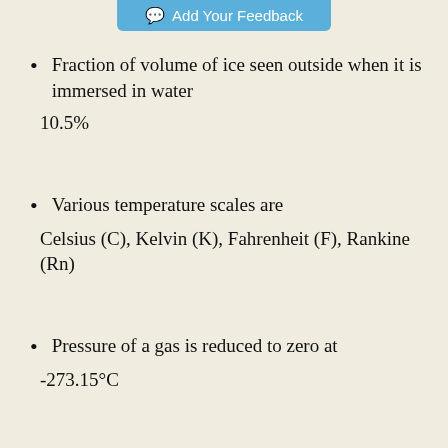Add Your Feedback
Fraction of volume of ice seen outside when it is immersed in water
10.5%
Various temperature scales are
Celsius (C), Kelvin (K), Fahrenheit (F), Rankine (Rn)
Pressure of a gas is reduced to zero at
-273.15°C